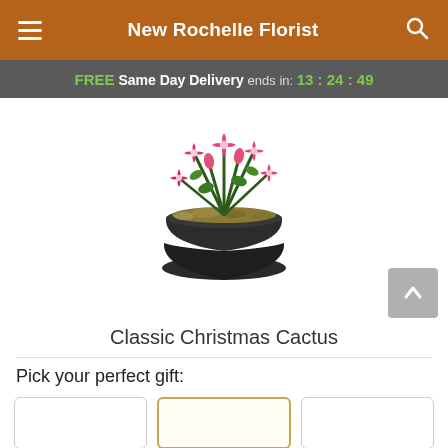New Rochelle Florist
FREE Same Day Delivery ends in: 13:24:49
[Figure (photo): A Christmas cactus plant with pink and red blooms growing in a dark charcoal/black round ceramic pot filled with moss.]
Classic Christmas Cactus
Pick your perfect gift: